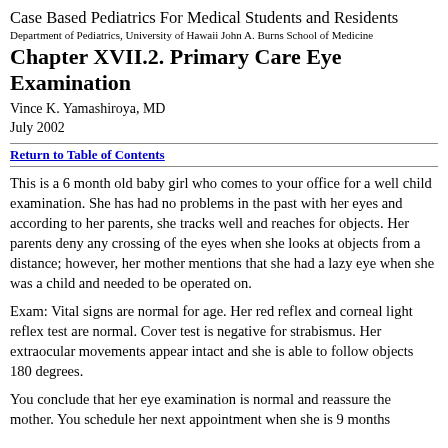Case Based Pediatrics For Medical Students and Residents
Department of Pediatrics, University of Hawaii John A. Burns School of Medicine
Chapter XVII.2. Primary Care Eye Examination
Vince K. Yamashiroya, MD
July 2002
Return to Table of Contents
This is a 6 month old baby girl who comes to your office for a well child examination. She has had no problems in the past with her eyes and according to her parents, she tracks well and reaches for objects. Her parents deny any crossing of the eyes when she looks at objects from a distance; however, her mother mentions that she had a lazy eye when she was a child and needed to be operated on.
Exam: Vital signs are normal for age. Her red reflex and corneal light reflex test are normal. Cover test is negative for strabismus. Her extraocular movements appear intact and she is able to follow objects 180 degrees.
You conclude that her eye examination is normal and reassure the mother. You schedule her next appointment when she is 9 months